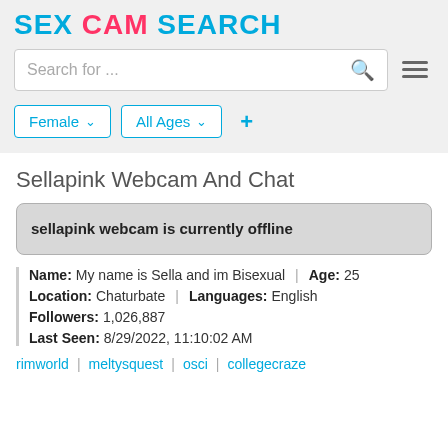SEX CAM SEARCH
Search for ...
Female ∨   All Ages ∨   +
Sellapink Webcam And Chat
sellapink webcam is currently offline
Name: My name is Sella and im Bisexual | Age: 25
Location: Chaturbate | Languages: English
Followers: 1,026,887
Last Seen: 8/29/2022, 11:10:02 AM
rimworld | meltysquest | osci | collegecraze